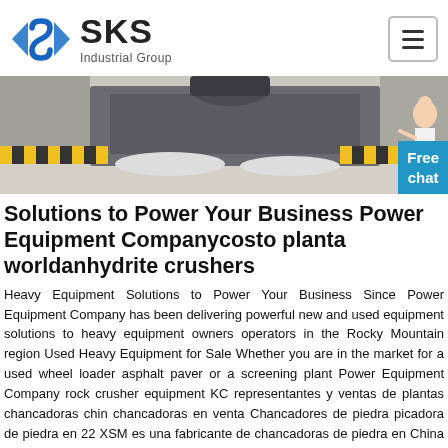[Figure (logo): SKS Industrial Group logo with blue diamond-S icon and bold SKS text with Industrial Group subtitle]
[Figure (photo): Industrial machinery photo showing heavy crushing/grinding equipment with yellow-black safety striped borders on a factory floor]
Solutions to Power Your Business Power Equipment Companycosto planta worldanhydrite crushers
Heavy Equipment Solutions to Power Your Business Since Power Equipment Company has been delivering powerful new and used equipment solutions to heavy equipment owners operators in the Rocky Mountain region Used Heavy Equipment for Sale Whether you are in the market for a used wheel loader asphalt paver or a screening plant Power Equipment Company rock crusher equipment KC representantes y ventas de plantas chancadoras chin chancadoras en venta Chancadores de piedra picadora de piedra en 22 XSM es una fabricante de chancadoras de piedra en China y